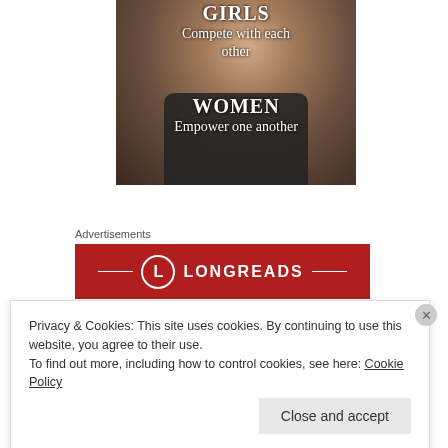[Figure (photo): Meme image showing a Black woman with text overlay: 'GIRLS Compete with each other' and 'WOMEN Empower one another']
(source)
Advertisements
[Figure (logo): Longreads advertisement banner with red background and Longreads logo]
Privacy & Cookies: This site uses cookies. By continuing to use this website, you agree to their use.
To find out more, including how to control cookies, see here: Cookie Policy
Close and accept